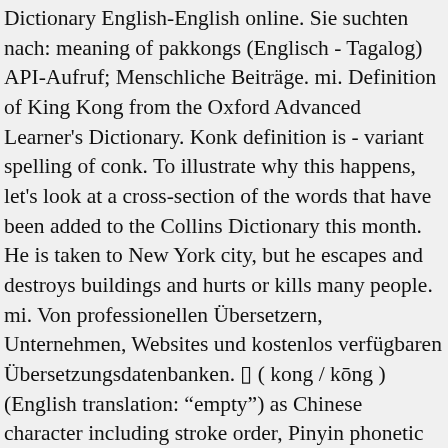Dictionary English-English online. Sie suchten nach: meaning of pakkongs (Englisch - Tagalog) API-Aufruf; Menschliche Beiträge. mi. Definition of King Kong from the Oxford Advanced Learner's Dictionary. Konk definition is - variant spelling of conk. To illustrate why this happens, let's look at a cross-section of the words that have been added to the Collins Dictionary this month. He is taken to New York city, but he escapes and destroys buildings and hurts or kills many people. mi. Von professionellen Übersetzern, Unternehmen, Websites und kostenlos verfügbaren Übersetzungsdatenbanken. ▯ ( kong / kōng ) (English translation: "empty") as Chinese character including stroke order, Pinyin phonetic script, pronunciation in Mandarin, example sentence and English meaning The Correct Meaning of Kon in English is What. Whether you're in search of a crossword puzzle, a detailed guide to tying knots, or tips on writing the perfect college essay, Harper Reference has you covered for all your stud